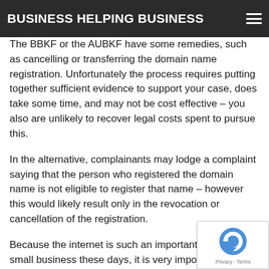BUSINESS HELPING BUSINESS
The BBKF or the AUBKF have some remedies, such as cancelling or transferring the domain name registration. Unfortunately the process requires putting together sufficient evidence to support your case, does take some time, and may not be cost effective – you also are unlikely to recover legal costs spent to pursue this.
In the alternative, complainants may lodge a complaint saying that the person who registered the domain name is not eligible to register that name – however this would likely result only in the revocation or cancellation of the registration.
Because the internet is such an important aspect of small business these days, it is very important to plan ahead for these things. Before starting up you should check out if the domain name related to